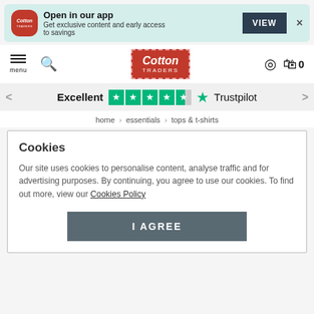[Figure (screenshot): App banner with Cotton Traders logo icon, 'Open in our app' heading, subtitle text, VIEW button, and close X button on a light teal background]
[Figure (screenshot): Navigation bar with hamburger menu, search icon, Cotton Traders logo, location pin, and shopping bag with 0 count]
[Figure (infographic): Trustpilot rating bar showing 'Excellent' with 4.5 green stars and Trustpilot logo with left/right navigation arrows]
home > essentials > tops & t-shirts
Cookies
Our site uses cookies to personalise content, analyse traffic and for advertising purposes. By continuing, you agree to use our cookies. To find out more, view our Cookies Policy
I AGREE